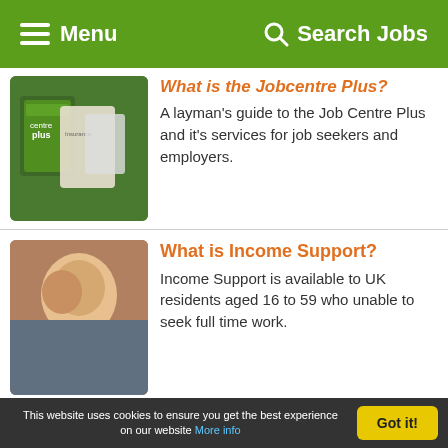Menu  Search Jobs
What is the Jobcentre Plus?
A layman's guide to the Job Centre Plus and it's services for job seekers and employers.
[Figure (photo): Photo of Centreplus booklets/leaflets]
What is Income Support?
Income Support is available to UK residents aged 16 to 59 who unable to seek full time work.
[Figure (photo): Photo of a man looking thoughtful]
What is Job Seekers Allowance?
Jobseeker's allowance is the benefit paid to unemployed people who are actively looking for work.
[Figure (photo): Photo of two people looking at a document]
This website uses cookies to ensure you get the best experience on our website More info  Got it!